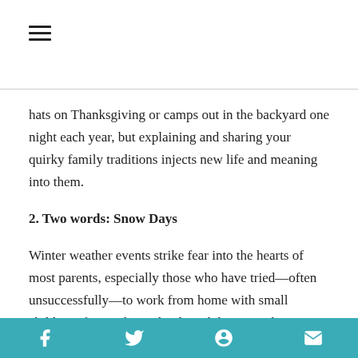☰ (hamburger menu icon)
hats on Thanksgiving or camps out in the backyard one night each year, but explaining and sharing your quirky family traditions injects new life and meaning into them.
2. Two words: Snow Days
Winter weather events strike fear into the hearts of most parents, especially those who have tried—often unsuccessfully—to work from home with small children afoot. When schools and daycares close because of bad
f  [Twitter]  [Pinterest]  [Mail]